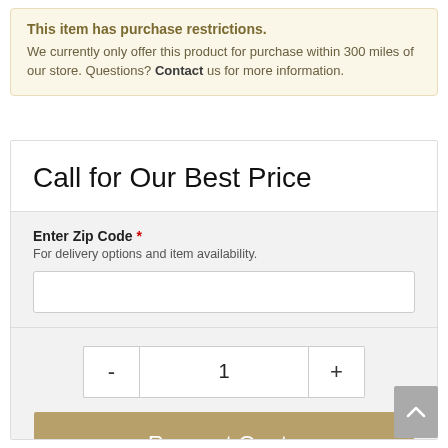This item has purchase restrictions.
We currently only offer this product for purchase within 300 miles of our store. Questions? Contact us for more information.
Call for Our Best Price
Enter Zip Code *
For delivery options and item availability.
1
Request Quote